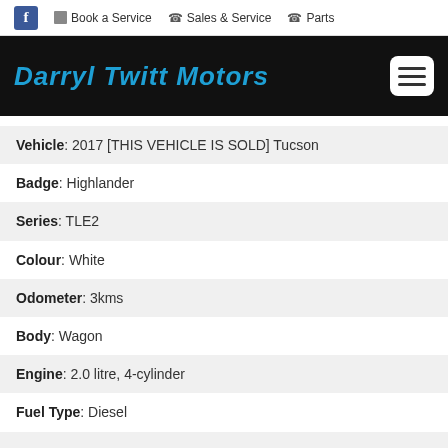f  Book a Service  Sales & Service  Parts
Darryl Twitt Motors
| Field | Value |
| --- | --- |
| Vehicle | 2017 [THIS VEHICLE IS SOLD] Tucson |
| Badge | Highlander |
| Series | TLE2 |
| Colour | White |
| Odometer | 3kms |
| Body | Wagon |
| Engine | 2.0 litre, 4-cylinder |
| Fuel Type | Diesel |